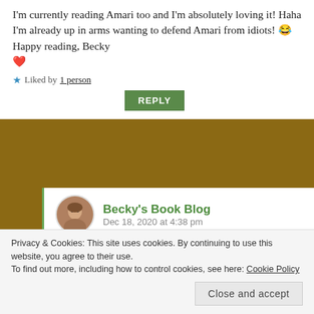I'm currently reading Amari too and I'm absolutely loving it! Haha I'm already up in arms wanting to defend Amari from idiots! 😂 Happy reading, Becky ❤️
★ Liked by 1 person
REPLY
Becky's Book Blog
Dec 18, 2020 at 4:38 pm
Glad to hear your enjoying Amari! I actually
Privacy & Cookies: This site uses cookies. By continuing to use this website, you agree to their use.
To find out more, including how to control cookies, see here: Cookie Policy
Close and accept